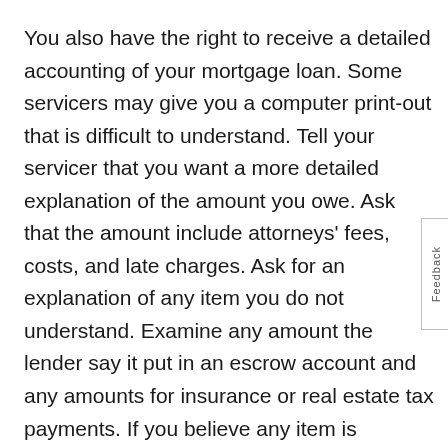You also have the right to receive a detailed accounting of your mortgage loan. Some servicers may give you a computer print-out that is difficult to understand. Tell your servicer that you want a more detailed explanation of the amount you owe. Ask that the amount include attorneys' fees, costs, and late charges. Ask for an explanation of any item you do not understand. Examine any amount the lender say it put in an escrow account and any amounts for insurance or real estate tax payments. If you believe any item is unreasonable or incorrect, write a letter explaining your position and ask that they remove the charge.
Organize your documents